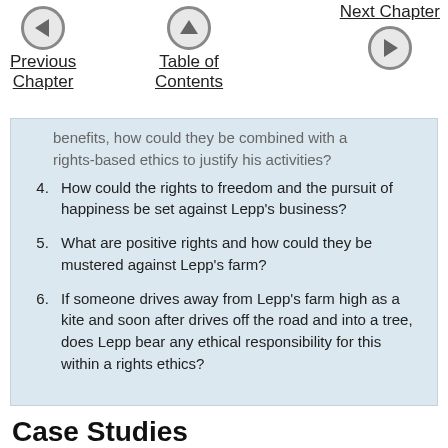Previous Chapter | Table of Contents | Next Chapter
...benefits, how could they be combined with a rights-based ethics to justify his activities?
4. How could the rights to freedom and the pursuit of happiness be set against Lepp's business?
5. What are positive rights and how could they be mustered against Lepp's farm?
6. If someone drives away from Lepp's farm high as a kite and soon after drives off the road and into a tree, does Lepp bear any ethical responsibility for this within a rights ethics?
Case Studies